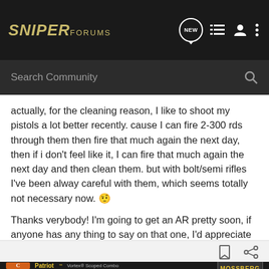SNIPER FORUMS
Search Community
actually, for the cleaning reason, I like to shoot my pistols a lot better recently. cause I can fire 2-300 rds through them then fire that much again the next day, then if i don't feel like it, I can fire that much again the next day and then clean them. but with bolt/semi rifles I've been alway careful with them, which seems totally not necessary now. 🤨

Thanks verybody! I'm going to get an AR pretty soon, if anyone has any thing to say on that one, I'd appreciate it very much! Be well, and stay safe! 8)
[Figure (screenshot): Advertisement banner for Patriot Vortex Scoped Combo by Mossberg with rifle image]